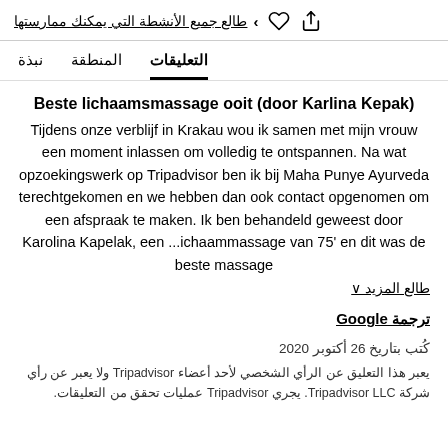طالع جميع الأنشطة التي يمكنك ممارستها
نبذة   المنطقة   التعليقات
Beste lichaamsmassage ooit (door Karlina Kepak)
Tijdens onze verblijf in Krakau wou ik samen met mijn vrouw een moment inlassen om volledig te ontspannen. Na wat opzoekingswerk op Tripadvisor ben ik bij Maha Punye Ayurveda terechtgekomen en we hebben dan ook contact opgenomen om een afspraak te maken. Ik ben behandeld geweest door Karolina Kapelak, een ...ichaammassage van 75' en dit was de beste massage
طالع المزيد ∨
ترجمة Google
كُتب بتاريخ 26 أكتوبر 2020
يعبر هذا التعليق عن الرأي الشخصي لأحد أعضاء Tripadvisor ولا يعبر عن رأي شركة Tripadvisor LLC. يجري Tripadvisor عمليات تحقق من التعليقات.